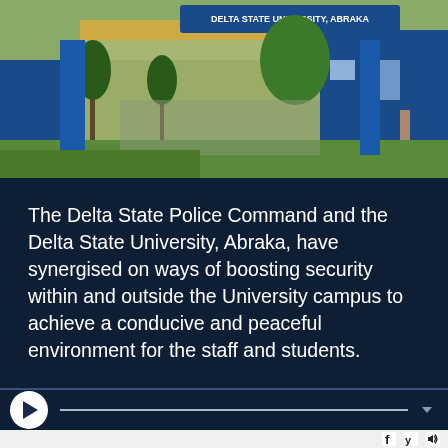[Figure (photo): Entrance gate of Delta State University, Abraka. Blue and white gate structure with 'DELTA STATE UNIVERSITY, ABRAKA' text visible on the arch. Palm trees and green foliage in the background.]
The Delta State Police Command and the Delta State University, Abraka, have synergised on ways of boosting security within and outside the University campus to achieve a conducive and peaceful environment for the staff and students.
[Figure (other): Audio/video player control bar with play button, progress bar, and volume control icon]